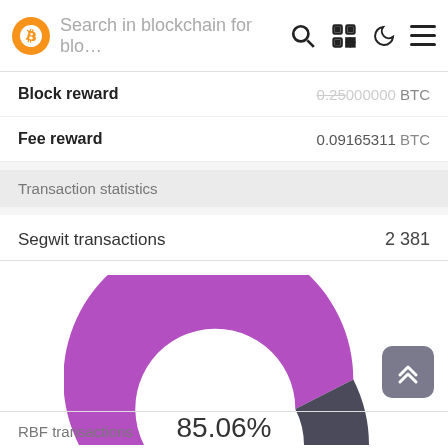Search in blockchain for blo…
Block reward   0.25000000 BTC
Fee reward   0.09165311 BTC
Transaction statistics
Segwit transactions
[Figure (donut-chart): Segwit transactions]
RBF transactions